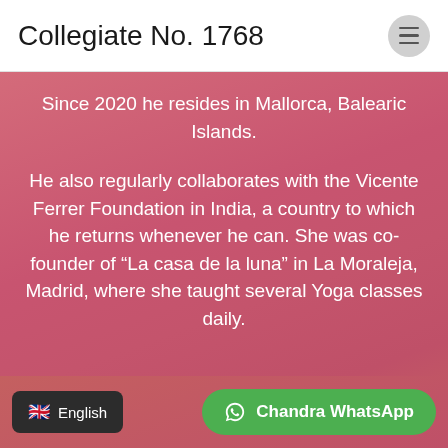Collegiate No. 1768
Since 2020 he resides in Mallorca, Balearic Islands.
He also regularly collaborates with the Vicente Ferrer Foundation in India, a country to which he returns whenever he can. She was co-founder of “La casa de la luna” in La Moraleja, Madrid, where she taught several Yoga classes daily.
English | Chandra WhatsApp